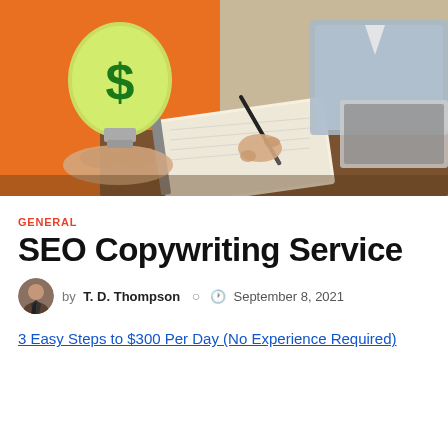[Figure (photo): A person holding a light bulb with a dollar sign inside it, while another person writes in a notebook at a desk with a laptop. Orange background on the left side.]
GENERAL
SEO Copywriting Service
by T. D. Thompson  September 8, 2021
3 Easy Steps to $300 Per Day (No Experience Required)